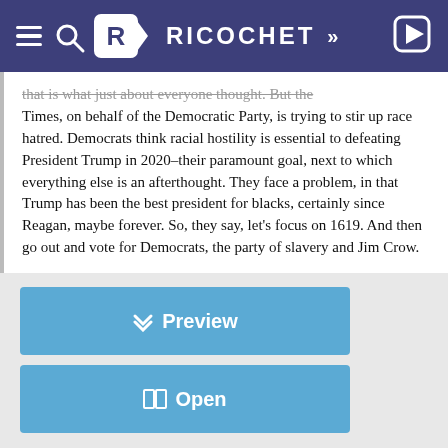RICOCHET
that is what just about everyone thought. But the Times, on behalf of the Democratic Party, is trying to stir up race hatred. Democrats think racial hostility is essential to defeating President Trump in 2020–their paramount goal, next to which everything else is an afterthought. They face a problem, in that Trump has been the best president for blacks, certainly since Reagan, maybe forever. So, they say, let's focus on 1619. And then go out and vote for Democrats, the party of slavery and Jim Crow.
Preview
Open
Member Post